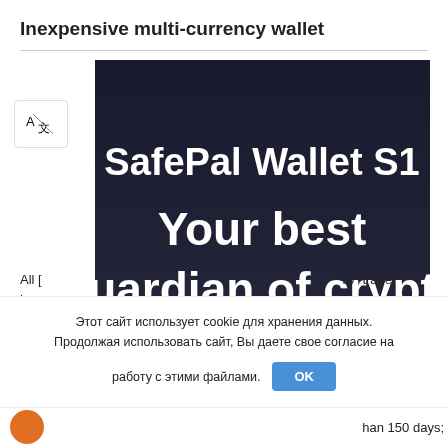Inexpensive multi-currency wallet
[Figure (screenshot): SafePal Wallet S1 product image on dark background with text 'SafePal Wallet S1' and 'Your best guardian of crypto asset']
All [obscured] “ro” trader ba[obscured]
In d[obscured] st meet all of
Этот сайт использует cookie для хранения данных. Продолжая использовать сайт, Вы даете свое согласие на работу с этими файлами. OK
han 150 days;